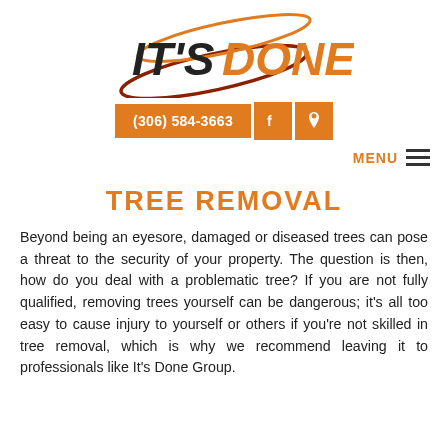[Figure (logo): IT'S DONE company logo with orange ellipse orbit and orange/dark text]
(306) 584-3663
TREE REMOVAL
Beyond being an eyesore, damaged or diseased trees can pose a threat to the security of your property. The question is then, how do you deal with a problematic tree? If you are not fully qualified, removing trees yourself can be dangerous; it's all too easy to cause injury to yourself or others if you're not skilled in tree removal, which is why we recommend leaving it to professionals like It's Done Group.